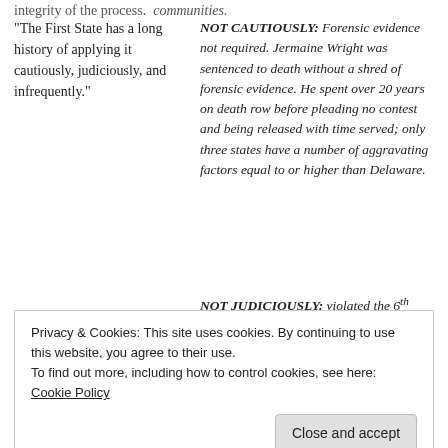integrity of the process. communities.
“The First State has a long history of applying it cautiously, judiciously, and infrequently.”
NOT CAUTIOUSLY: Forensic evidence not required. Jermaine Wright was sentenced to death without a shred of forensic evidence. He spent over 20 years on death row before pleading no contest and being released with time served; only three states have a number of aggravating factors equal to or higher than Delaware.
NOT JUDICIOUSLY: violated the 6th amendment to the U.S. Constitution:
Privacy & Cookies: This site uses cookies. By continuing to use this website, you agree to their use.
To find out more, including how to control cookies, see here: Cookie Policy
of those given a death sentence are not